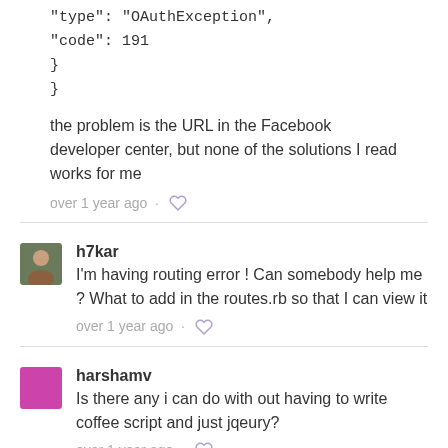"type": "OAuthException",
"code": 191
}
}
the problem is the URL in the Facebook developer center, but none of the solutions I read works for me
over 1 year ago ·
h7kar
I'm having routing error ! Can somebody help me ? What to add in the routes.rb so that I can view it
over 1 year ago ·
harshamv
Is there any i can do with out having to write coffee script and just jqeury?
over 1 year ago ·